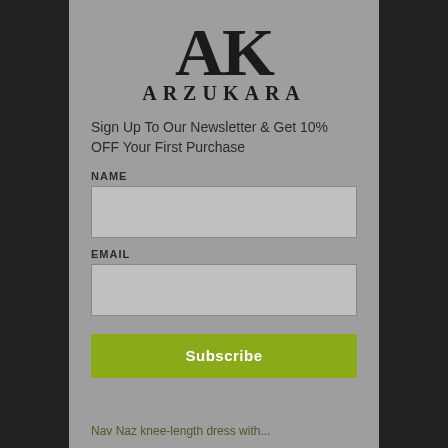[Figure (logo): AK Arzukara brand logo with large serif AK letters above the text ARZUKARA]
Sign Up To Our Newsletter & Get 10% OFF Your First Purchase
NAME
EMAIL
Subscribe
Nav Naz knee-length dress with...